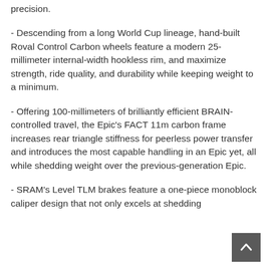precision.
- Descending from a long World Cup lineage, hand-built Roval Control Carbon wheels feature a modern 25-millimeter internal-width hookless rim, and maximize strength, ride quality, and durability while keeping weight to a minimum.
- Offering 100-millimeters of brilliantly efficient BRAIN-controlled travel, the Epic's FACT 11m carbon frame increases rear triangle stiffness for peerless power transfer and introduces the most capable handling in an Epic yet, all while shedding weight over the previous-generation Epic.
- SRAM's Level TLM brakes feature a one-piece monoblock caliper design that not only excels at shedding